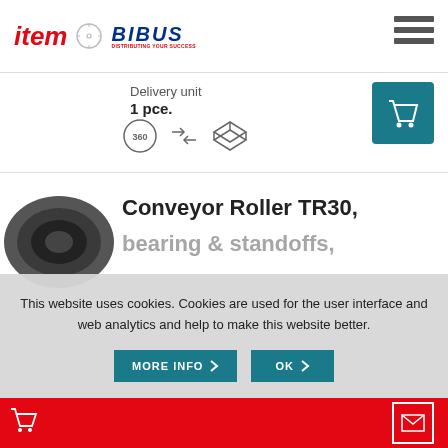[Figure (logo): item and BIBUS logos in header with hamburger menu]
Delivery unit
1 pce.
[Figure (illustration): Product icons: 360 view, exchange arrows, 3D box]
[Figure (illustration): Shopping cart button (teal)]
[Figure (photo): Conveyor Roller product image (dark grey roller)]
Conveyor Roller TR30,
This website uses cookies. Cookies are used for the user interface and web analytics and help to make this website better.
[Figure (illustration): MORE INFO and OK buttons in cookie banner]
[Figure (illustration): Mail icon in red bottom bar]